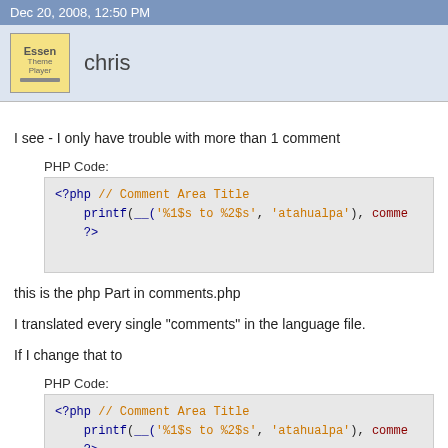Dec 20, 2008, 12:50 PM
chris
I see - I only have trouble with more than 1 comment
PHP Code:
[Figure (screenshot): PHP code block: <?php // Comment Area Title  printf(__('%1$s to %2$s', 'atahualpa'), comme  ?>]
this is the php Part in comments.php
I translated every single "comments" in the language file.
If I change that to
PHP Code:
[Figure (screenshot): PHP code block: <?php // Comment Area Title  printf(__('%1$s to %2$s', 'atahualpa'), comme  ?>]